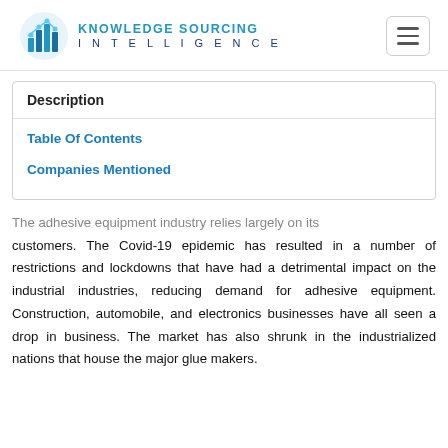[Figure (logo): Knowledge Sourcing Intelligence logo with blue geometric icon and company name text]
Description
Table Of Contents
Companies Mentioned
The adhesive equipment industry relies largely on its customers. The Covid-19 epidemic has resulted in a number of restrictions and lockdowns that have had a detrimental impact on the industrial industries, reducing demand for adhesive equipment. Construction, automobile, and electronics businesses have all seen a drop in business. The market has also shrunk in the industrialized nations that house the major glue makers.